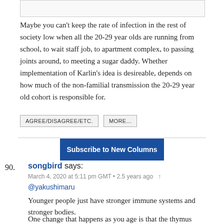[Figure (other): Partial image placeholder at top of page]
Maybe you can't keep the rate of infection in the rest of society low when all the 20-29 year olds are running from school, to wait staff job, to apartment complex, to passing joints around, to meeting a sugar daddy. Whether implementation of Karlin's idea is desireable, depends on how much of the non-familial transmission the 20-29 year old cohort is responsible for.
AGREE/DISAGREE/ETC.   MORE...
Subscribe to New Columns
90. songbird says:
March 4, 2020 at 5:11 pm GMT • 2.5 years ago  ↑
@yakushimaru
Younger people just have stronger immune systems and stronger bodies.
One change that happens as you age is that the thymus gland